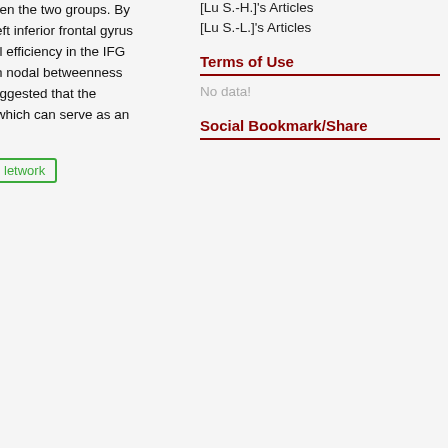een the two groups. By left inferior frontal gyrus al efficiency in the IFG in nodal betweenness uggested that the which can serve as an
network
[Lu S.-H.]'s Articles
[Lu S.-L.]'s Articles
Terms of Use
No data!
Social Bookmark/Share